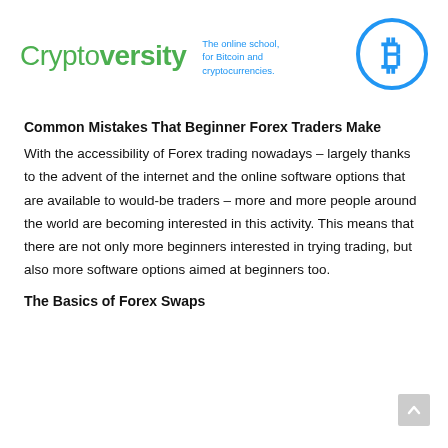[Figure (logo): Cryptoversity logo with green text reading 'Cryptoversity', blue tagline 'The online school, for Bitcoin and cryptocurrencies.' and a blue Bitcoin symbol circle icon]
Common Mistakes That Beginner Forex Traders Make
With the accessibility of Forex trading nowadays – largely thanks to the advent of the internet and the online software options that are available to would-be traders – more and more people around the world are becoming interested in this activity. This means that there are not only more beginners interested in trying trading, but also more software options aimed at beginners too.
The Basics of Forex Swaps